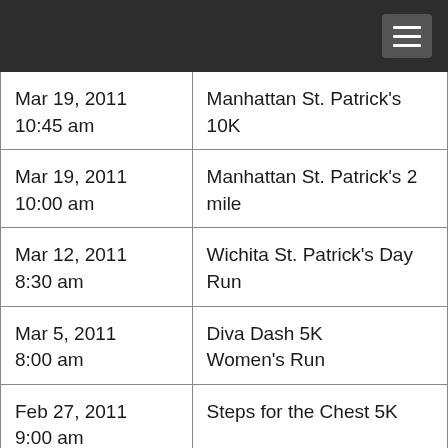| Date/Time | Event |
| --- | --- |
| Mar 19, 2011 10:45 am | Manhattan St. Patrick's 10K |
| Mar 19, 2011 10:00 am | Manhattan St. Patrick's 2 mile |
| Mar 12, 2011 8:30 am | Wichita St. Patrick's Day Run |
| Mar 5, 2011 8:00 am | Diva Dash 5K Women's Run |
| Feb 27, 2011 9:00 am | Steps for the Chest 5K |